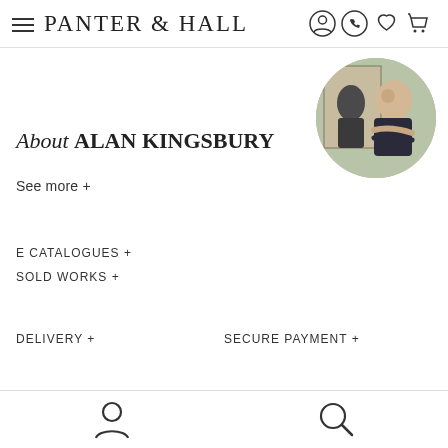PANTER & HALL
[Figure (photo): Circular profile photo of Alan Kingsbury, a man in dark clothes with arms crossed, standing in front of artwork]
About ALAN KINGSBURY
See more +
E CATALOGUES +
SOLD WORKS +
DELIVERY +
SECURE PAYMENT +
user icon, search icon